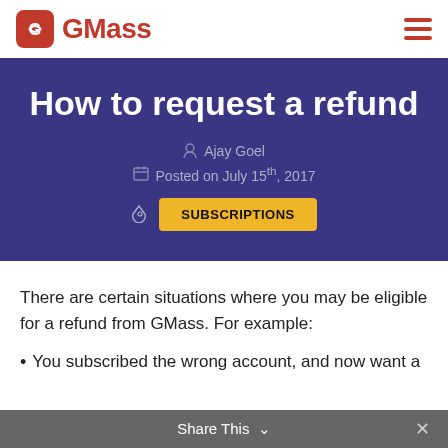GMass
How to request a refund
Ajay Goel
Posted on July 15th, 2017
SUBSCRIPTIONS
There are certain situations where you may be eligible for a refund from GMass. For example:
You subscribed the wrong account, and now want a